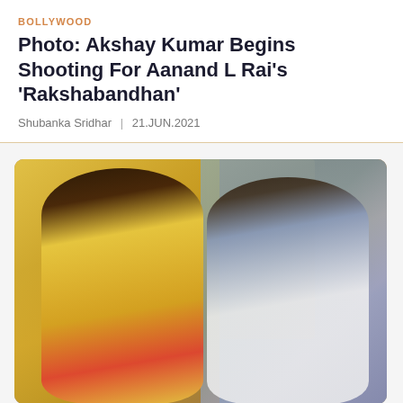BOLLYWOOD
Photo: Akshay Kumar Begins Shooting For Aanand L Rai's 'Rakshabandhan'
Shubanka Sridhar | 21.JUN.2021
[Figure (photo): A woman in a yellow salwar kameez with red bangles and a man in a blue kurta with white vest, seated and conversing, in a warmly lit indoor setting with wooden doors/windows in the background.]